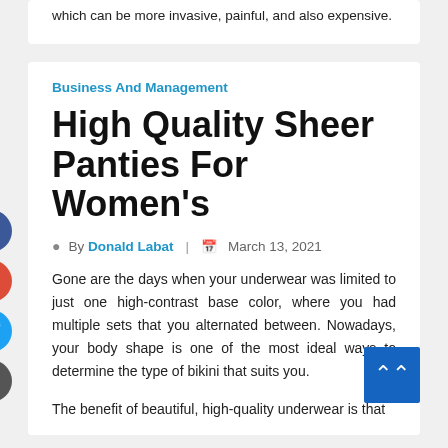which can be more invasive, painful, and also expensive.
Business And Management
High Quality Sheer Panties For Women's
By Donald Labat | March 13, 2021
Gone are the days when your underwear was limited to just one high-contrast base color, where you had multiple sets that you alternated between. Nowadays, your body shape is one of the most ideal ways to determine the type of bikini that suits you.
The benefit of beautiful, high-quality underwear is that